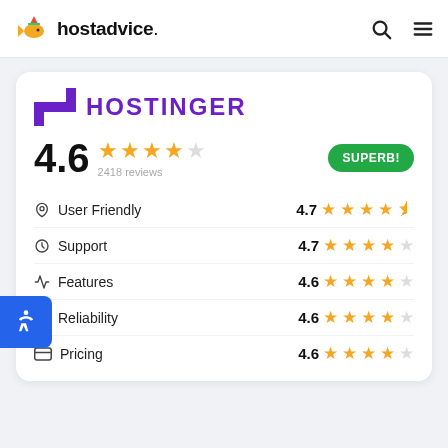hostadvice.
[Figure (logo): Hostinger logo with purple H icon and purple uppercase HOSTINGER text]
4.6  2418 reviews  SUPERB!
User Friendly  4.7
Support  4.7
Features  4.6
Reliability  4.6
Pricing  4.6